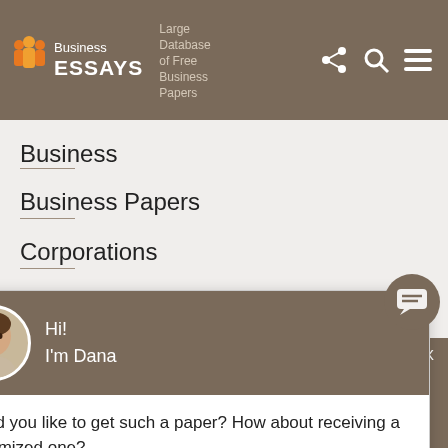Business ESSAYS — Large Database of Free Business Papers
Business
Business Papers
Corporations
Customers
Design
[Figure (screenshot): Chat popup with avatar of Dana. Header says 'Hi! I'm Dana'. Body text: 'Would you like to get such a paper? How about receiving a customized one? Check it out']
Haven't found the Essay You Want?
GET YOUR CUSTOM ESSAY SAMPLE
For Only $13.90/page